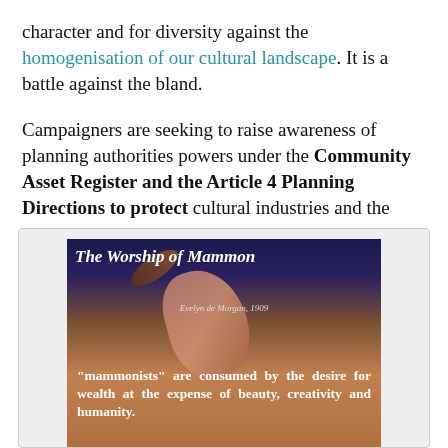character and for diversity against the homogenisation of our cultural landscape. It is a battle against the bland.
Campaigners are seeking to raise awareness of planning authorities powers under the Community Asset Register and the Article 4 Planning Directions to protect cultural industries and the other local assets which sustain our local economy and contribute vibrancy to our community.  All power to them.
[Figure (illustration): The Worship of Mammon painting by Evelyn de Morgan, 1909. Dark background with figures. Text overlay: '"mammonists" are consumed by the desire for wealth at the expense of beauty, creativity and humanity.' and '"mammonists" include philistines and vandals, pursuing wealth by obliterating heritage, identity, culture and sunlight in the name of']